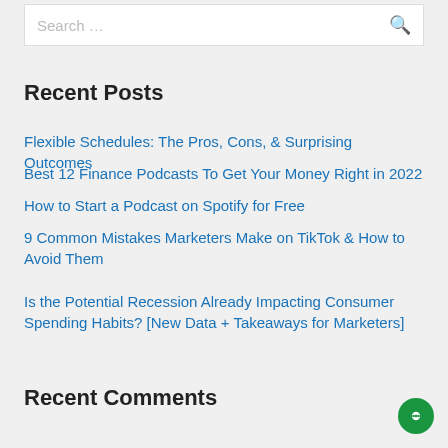Search …
Recent Posts
Flexible Schedules: The Pros, Cons, & Surprising Outcomes
Best 12 Finance Podcasts To Get Your Money Right in 2022
How to Start a Podcast on Spotify for Free
9 Common Mistakes Marketers Make on TikTok & How to Avoid Them
Is the Potential Recession Already Impacting Consumer Spending Habits? [New Data + Takeaways for Marketers]
Recent Comments